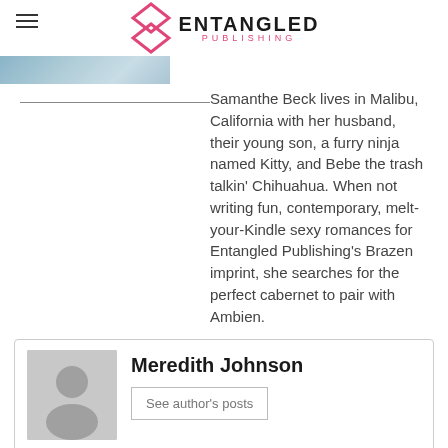Entangled Publishing
[Figure (photo): Partial book cover image at top left, showing blue/teal tones]
Samanthe Beck lives in Malibu, California with her husband, their young son, a furry ninja named Kitty, and Bebe the trash talkin’ Chihuahua. When not writing fun, contemporary, melt-your-Kindle sexy romances for Entangled Publishing’s Brazen imprint, she searches for the perfect cabernet to pair with Ambien.
[Figure (photo): Grey placeholder avatar silhouette for Meredith Johnson]
Meredith Johnson
See author's posts